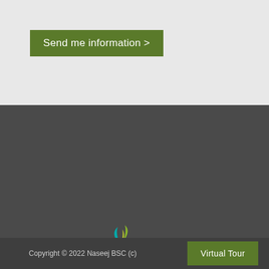Send me information >
[Figure (logo): Naseej logo with stylized leaf/bird icon in teal and green colors above the text NASEEJ in bold white]
Naseej B.S.C.(c)
46th Floor, East Tower
Bahrain Financial Harbour
P.O Box 1383, Manama
Kingdom of Bahrain
+973 1655 7999
+973 1655 7990
Copyright © 2022 Naseej BSC (c)
Virtual Tour